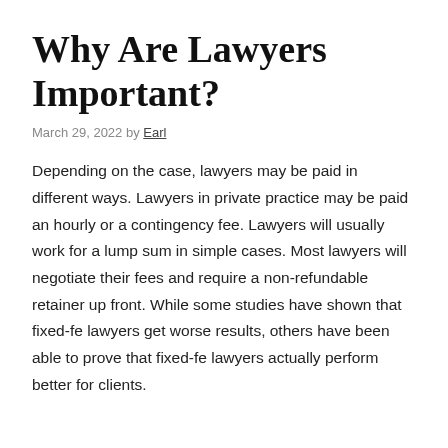Why Are Lawyers Important?
March 29, 2022 by Earl
Depending on the case, lawyers may be paid in different ways. Lawyers in private practice may be paid an hourly or a contingency fee. Lawyers will usually work for a lump sum in simple cases. Most lawyers will negotiate their fees and require a non-refundable retainer up front. While some studies have shown that fixed-fe lawyers get worse results, others have been able to prove that fixed-fe lawyers actually perform better for clients.